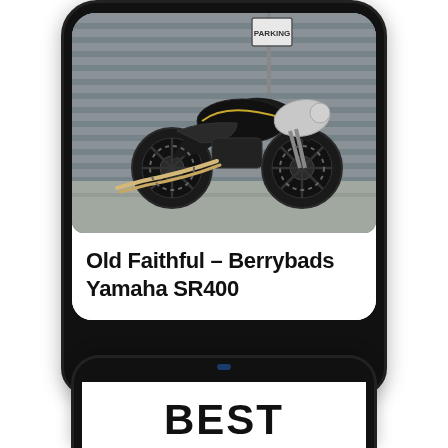[Figure (screenshot): A smartphone showing a motorcycle article with a black cafe racer (Yamaha SR400) parked in front of wooden slat wall with a PARKING sign. Below the photo is bold text reading 'Old Faithful – Berrybads Yamaha SR400'.]
Old Faithful – Berrybads Yamaha SR400
[Figure (screenshot): Bottom portion of a second smartphone showing the top of its screen with a notch and the beginning of large bold text 'BEST'.]